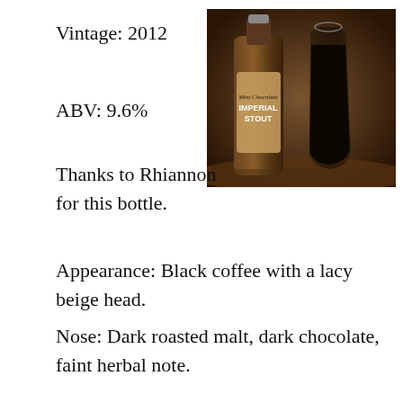Vintage: 2012
[Figure (photo): A bottle of Mint Chocolate Imperial Stout next to a full pint glass of dark stout beer.]
ABV: 9.6%
Thanks to Rhiannon for this bottle.
Appearance: Black coffee with a lacy beige head.
Nose: Dark roasted malt, dark chocolate, faint herbal note.
On the palate: Full bodied and sweet. Like a Shamrock Shake upon initial entry. Some bitterness does surface later and on subsequent